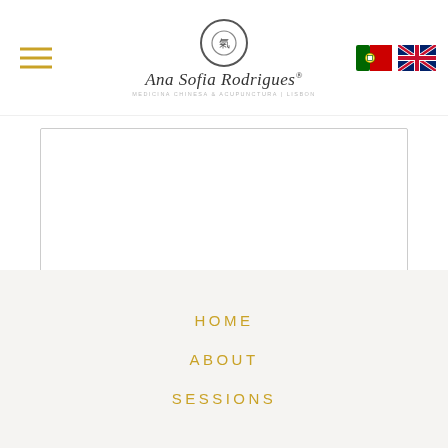Ana Sofia Rodrigues
[Figure (illustration): Textarea form field (empty, resizable) for message input]
Send, New
HOME
ABOUT
SESSIONS